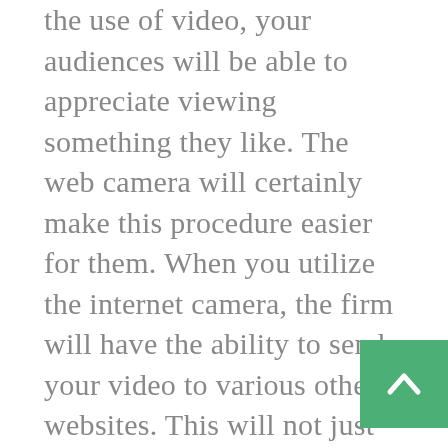the use of video, your audiences will be able to appreciate viewing something they like. The web camera will certainly make this procedure easier for them. When you utilize the internet camera, the firm will have the ability to send your video to various other websites. This will not just boost the variety of people that are watching your video, but it will also increase the variety of individuals who are clicking your web links. The more individuals who click your links, the even more people will see your web site. In this manner, you will not just obtain even more traffic and also even more customers, yet also enhance your earnings through the digital marketing. You may have done it by hand as well as you might still do it by doing this, but you can additionally do this with a company. This will certainly allow you to save more time and effort. It is likewise more affordable contrasted to needing to handle everything on your